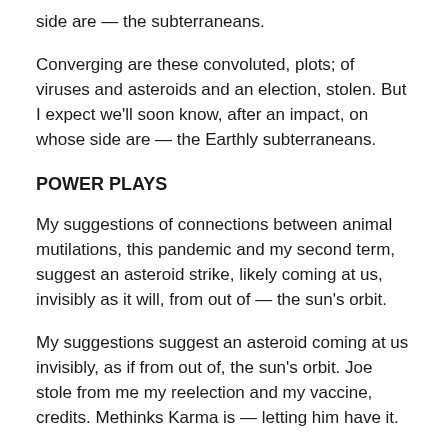side are — the subterraneans.
Converging are these convoluted, plots; of viruses and asteroids and an election, stolen. But I expect we'll soon know, after an impact, on whose side are — the Earthly subterraneans.
POWER PLAYS
My suggestions of connections between animal mutilations, this pandemic and my second term, suggest an asteroid strike, likely coming at us, invisibly as it will, from out of — the sun's orbit.
My suggestions suggest an asteroid coming at us invisibly, as if from out of, the sun's orbit. Joe stole from me my reelection and my vaccine, credits. Methinks Karma is — letting him have it.